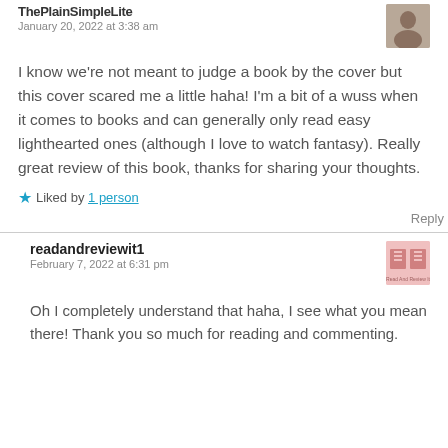ThePlainSimpleLite
January 20, 2022 at 3:38 am
I know we're not meant to judge a book by the cover but this cover scared me a little haha! I'm a bit of a wuss when it comes to books and can generally only read easy lighthearted ones (although I love to watch fantasy). Really great review of this book, thanks for sharing your thoughts.
Liked by 1 person
Reply
readandreviewit1
February 7, 2022 at 6:31 pm
Oh I completely understand that haha, I see what you mean there! Thank you so much for reading and commenting.